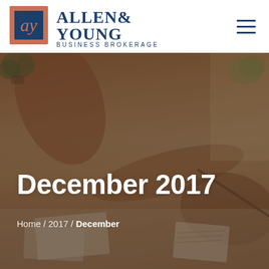[Figure (logo): Allen & Young Business Brokerage logo with stylized 'ay' monogram in a salmon/terracotta and navy square, followed by 'ALLEN & YOUNG' in large navy serif text and 'BUSINESS BROKERAGE' in spaced navy caps beneath]
[Figure (photo): Hero banner photo of two people leaning over a desk, one writing/pointing with a pen, papers and notebooks on desk, warm beige/brown tones with soft lighting, plants in background]
December 2017
Home / 2017 / December